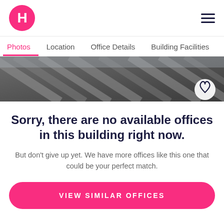H [logo] — hamburger menu
Photos  Location  Office Details  Building Facilities  Sum...
[Figure (photo): Building exterior photo strip showing architectural steel/glass structure]
Sorry, there are no available offices in this building right now.
But don't give up yet. We have more offices like this one that could be your perfect match.
VIEW SIMILAR OFFICES